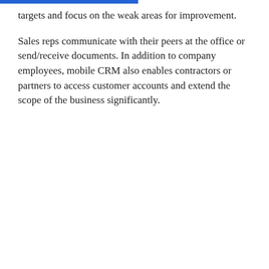targets and focus on the weak areas for improvement.
Sales reps communicate with their peers at the office or send/receive documents. In addition to company employees, mobile CRM also enables contractors or partners to access customer accounts and extend the scope of the business significantly.